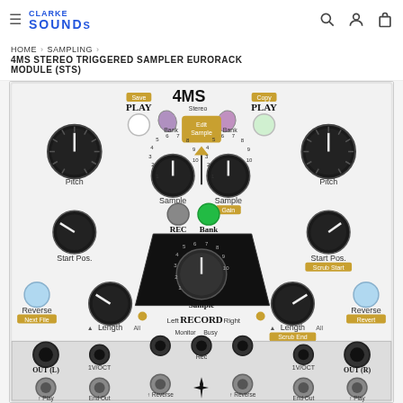≡ CLARKE SOUNDS [search] [user] [cart]
HOME > SAMPLING > 4MS STEREO TRIGGERED SAMPLER EURORACK MODULE (STS)
[Figure (photo): 4MS Stereo Triggered Sampler (STS) Eurorack module front panel photo showing knobs for Pitch, Sample, Start Pos., Length, Reverse buttons, Play buttons with Save/Copy labels, Bank selector, Edit Sample knob, Record section with REC and Bank buttons, Sample knob, and various input/output jacks labeled OUT (L), OUT (R), 1V/OCT, End Out, Reverse, Play at the bottom.]